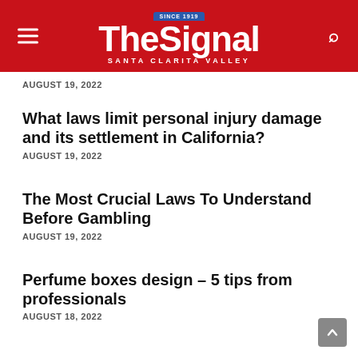The Signal — Santa Clarita Valley
AUGUST 19, 2022
What laws limit personal injury damage and its settlement in California?
AUGUST 19, 2022
The Most Crucial Laws To Understand Before Gambling
AUGUST 19, 2022
Perfume boxes design – 5 tips from professionals
AUGUST 18, 2022